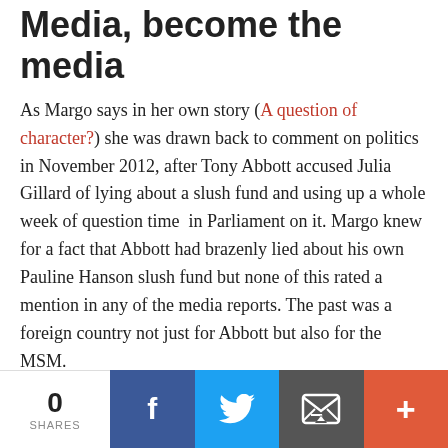Media, become the media
As Margo says in her own story (A question of character?) she was drawn back to comment on politics in November 2012, after Tony Abbott accused Julia Gillard of lying about a slush fund and using up a whole week of question time in Parliament on it. Margo knew for a fact that Abbott had brazenly lied about his own Pauline Hanson slush fund but none of this rated a mention in any of the media reports. The past was a foreign country not just for Abbott but also for the MSM.
Margo was shocked at the state of journalism, seeing it with a new and fresh perspective after coming back from her self-imposed seven-year media exile. Something had to be done about this, over and above the standard Twitter outrage.
0 SHARES | Facebook | Twitter | Email | More